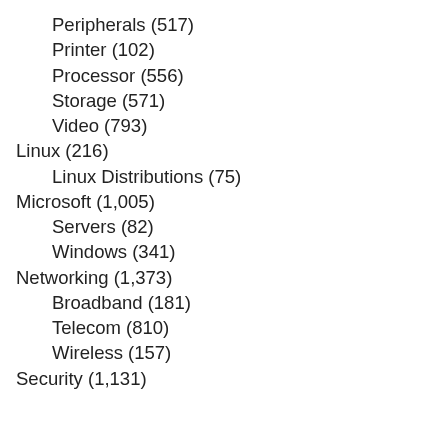Peripherals (517)
Printer (102)
Processor (556)
Storage (571)
Video (793)
Linux (216)
Linux Distributions (75)
Microsoft (1,005)
Servers (82)
Windows (341)
Networking (1,373)
Broadband (181)
Telecom (810)
Wireless (157)
Security (1,131)